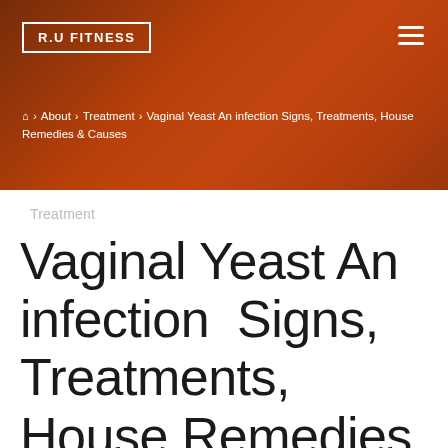R.U FITNESS
Home > About > Treatment > Vaginal Yeast An infection Signs, Treatments, House Remedies & Causes
Treatment
Vaginal Yeast An infection Signs, Treatments, House Remedies